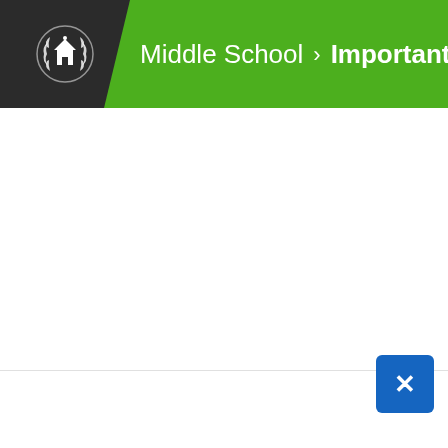Middle School > Important Chart Patterns
[Figure (screenshot): White blank content area below navigation header]
[Figure (logo): FOREX.com advertisement banner with trade today button: Powerful tools for active traders POPULAR. Forex trading involves significant risk of loss and is not suitable for all investors.]